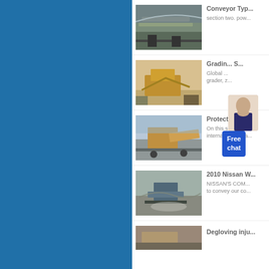[Figure (photo): Industrial conveyor belt system at a mining or quarrying site with mountains in background]
Conveyor Typ...
section two. pow...
[Figure (photo): Yellow heavy grading machinery at a construction or quarry site]
Gradin... S...
Global ... grader, z...
[Figure (photo): Heavy industrial crushing and conveying equipment at an outdoor site]
Protection fro...
On this site you c... international lega...
[Figure (photo): Mobile crushing or screening machinery with dust at a quarry site]
2010 Nissan W...
NISSAN'S COM... to convey our co...
[Figure (photo): Quarry or mining site with machinery, partially visible at page bottom]
Degloving inju...